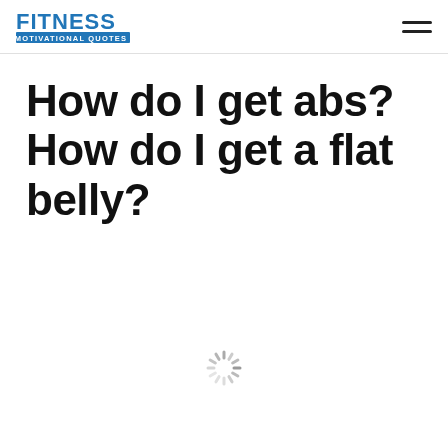FITNESS MOTIVATIONAL QUOTES
How do I get abs? How do I get a flat belly?
[Figure (other): Loading spinner animation indicator]